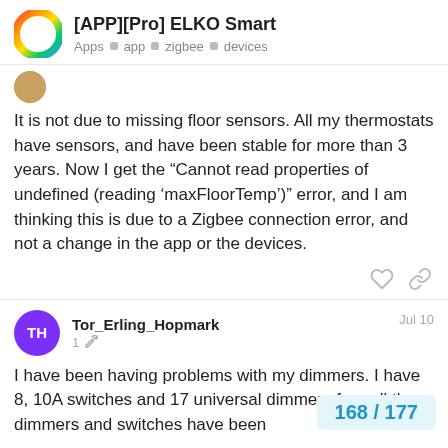[APP][Pro] ELKO Smart — Apps | app | zigbee | devices
[Figure (logo): Circular rainbow/gradient ring logo for a forum app]
[Figure (photo): Small circular avatar image of a forum user (brown/tan color)]
It is not due to missing floor sensors. All my thermostats have sensors, and have been stable for more than 3 years. Now I get the “Cannot read properties of undefined (reading ‘maxFloorTemp’)” error, and I am thinking this is due to a Zigbee connection error, and not a change in the app or the devices.
[Figure (other): Heart icon (like) and chain-link icon (share/copy link) action buttons]
Tor_Erling_Hopmark — 1 [edit] — Jul 10
I have been having problems with my dimmers. I have 8, 10A switches and 17 universal dimmers from... all the dimmers and switches have been...
168 / 177